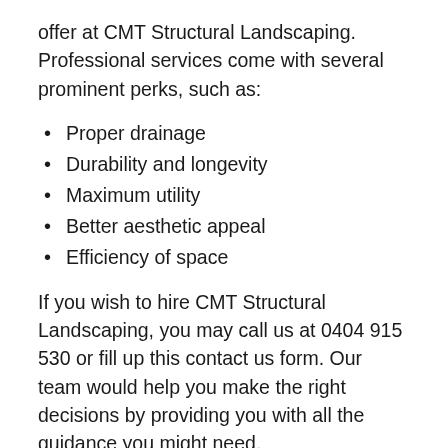offer at CMT Structural Landscaping. Professional services come with several prominent perks, such as:
Proper drainage
Durability and longevity
Maximum utility
Better aesthetic appeal
Efficiency of space
If you wish to hire CMT Structural Landscaping, you may call us at 0404 915 530 or fill up this contact us form. Our team would help you make the right decisions by providing you with all the guidance you might need.